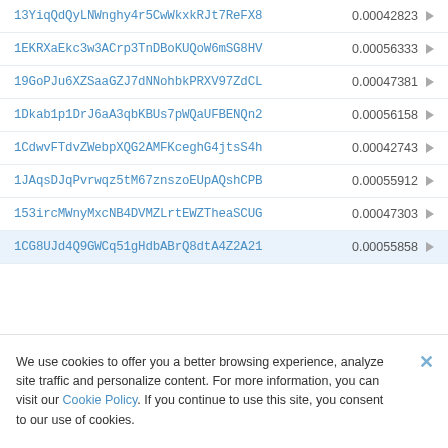13YiqQdQyLNWnghy4r5CwWkxkRJt7ReFX8  0.00042823
1EKRXaEkc3w3ACrp3TnDBoKUQoW6mSG8HV  0.00056333
19GoPJu6XZSaaGZJ7dNNohbkPRXV97ZdCL  0.00047381
1Dkab1p1DrJ6aA3qbKBUs7pWQaUFBENQn2  0.00056158
1CdwvFTdvZWebpXQG2AMFKceghG4jtsS4h  0.00042743
1JAqsDJqPvrwqz5tM67znszoEUpAQshCPB  0.00055912
153ircMWnyMxcNB4DVMZLrtEWZTheaSCUG  0.00047303
1CG8UJd4Q9GWCq51gHdbABrQ8dtA4Z2A21  0.00055858
We use cookies to offer you a better browsing experience, analyze site traffic and personalize content. For more information, you can visit our Cookie Policy. If you continue to use this site, you consent to our use of cookies.